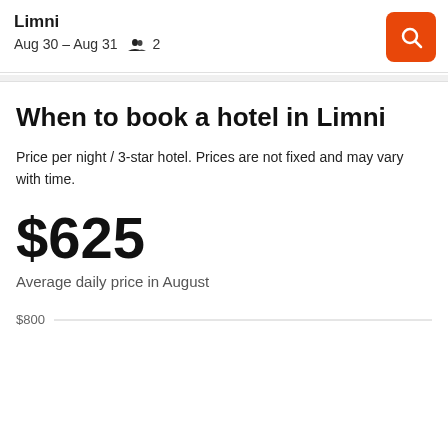Limni
Aug 30 – Aug 31   👥 2
When to book a hotel in Limni
Price per night / 3-star hotel. Prices are not fixed and may vary with time.
$625
Average daily price in August
[Figure (continuous-plot): Partial bar chart showing hotel prices by month, with $800 gridline visible at top]